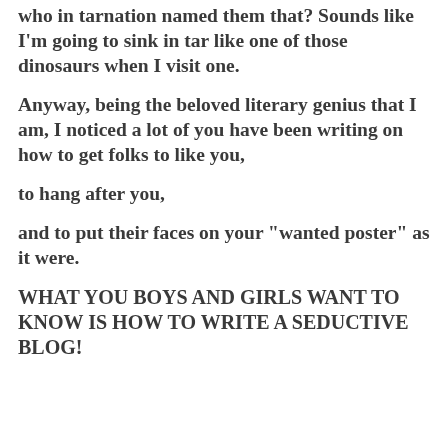who in tarnation named them that? Sounds like I'm going to sink in tar like one of those dinosaurs when I visit one.
Anyway, being the beloved literary genius that I am, I noticed a lot of you have been writing on how to get folks to like you,
to hang after you,
and to put their faces on your "wanted poster" as it were.
WHAT YOU BOYS AND GIRLS WANT TO KNOW IS HOW TO WRITE A SEDUCTIVE BLOG!